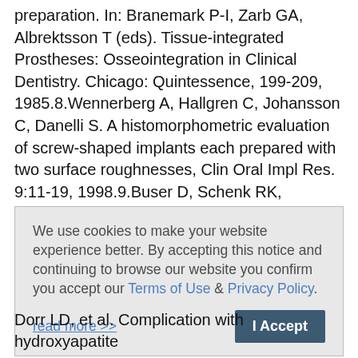preparation. In: Branemark P-I, Zarb GA, Albrektsson T (eds). Tissue-integrated Prostheses: Osseointegration in Clinical Dentistry. Chicago: Quintessence, 199-209, 1985.8.Wennerberg A, Hallgren C, Johansson C, Danelli S. A histomorphometric evaluation of screw-shaped implants each prepared with two surface roughnesses, Clin Oral Impl Res. 9:11-19, 1998.9.Buser D, Schenk RK, Steinemann S, et al. Influence of surface characteristics on bone integration of titanium implants. A histomorphometric study in miniature pigs, J Biomed Mater Res. 25:889-902,1991.10.Drake DR, Paul J, Keller
[Figure (screenshot): Cookie consent banner with text: 'We use cookies to make your website experience better. By accepting this notice and continuing to browse our website you confirm you accept our Terms of Use & Privacy Policy.' with 'read more >>' link and 'I Accept' button.]
Dorr LD, et al. Complication with hydroxyapatite